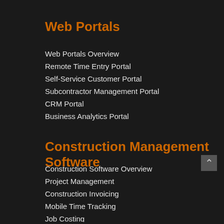Web Portals
Web Portals Overview
Remote Time Entry Portal
Self-Service Customer Portal
Subcontractor Management Portal
CRM Portal
Business Analytics Portal
Construction Management Software
Construction Software Overview
Project Management
Construction Invoicing
Mobile Time Tracking
Job Costing
Accounting SoftwareServices